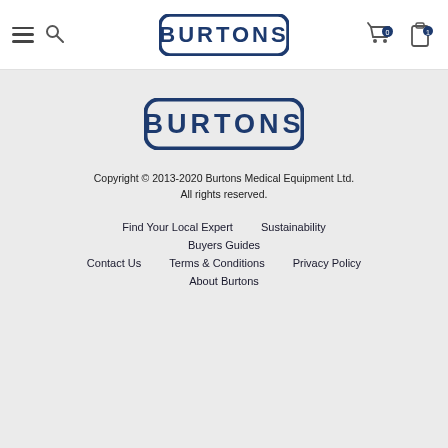[Figure (logo): Burtons Medical Equipment logo in header — bold white text on dark blue rounded rectangle border]
[Figure (logo): Burtons Medical Equipment logo in footer — bold white text on dark blue rounded rectangle border]
Copyright © 2013-2020 Burtons Medical Equipment Ltd. All rights reserved.
Find Your Local Expert
Sustainability
Buyers Guides
Contact Us
Terms & Conditions
Privacy Policy
About Burtons